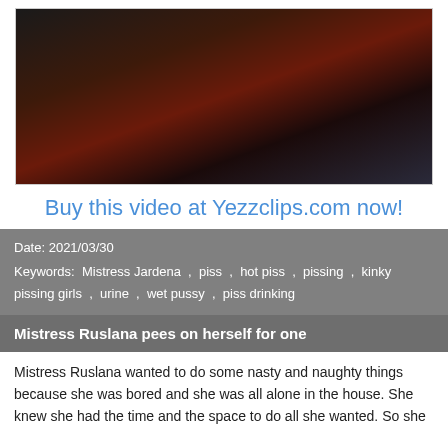[Figure (photo): Dark photo of two people, reddish background, one person lying down]
Buy this video at Yezzclips.com now!
Date: 2021/03/30
Keywords: Mistress Jardena , piss , hot piss , pissing , kinky pissing girls , urine , wet pussy , piss drinking
Mistress Ruslana pees on herself for one
Mistress Ruslana wanted to do some nasty and naughty things because she was bored and she was all alone in the house. She knew she had the time and the space to do all she wanted. So she